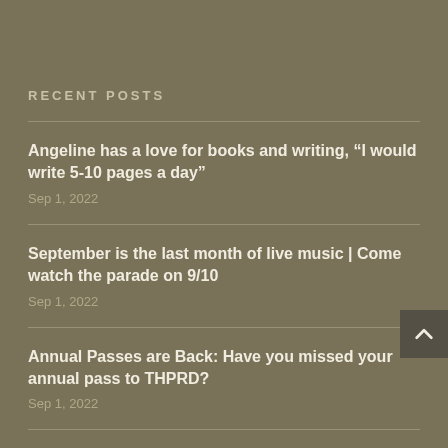RECENT POSTS
Angeline has a love for books and writing, “I would write 5-10 pages a day”
Sep 1, 2022
September is the last month of live music | Come watch the parade on 9/10
Sep 1, 2022
Annual Passes are Back: Have you missed your annual pass to THPRD?
Sep 1, 2022
Nature Hikes, three “Hidden Gems” in Washington County: Chehalem Ridge, Killin Wetlands, Fernhill Wetlands